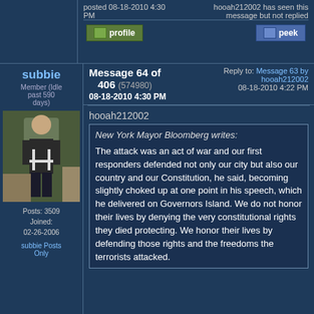posted 08-18-2010 4:30 PM
hooah212002 has seen this message but not replied
profile
peek
subbie
Member (Idle past 590 days)
Message 64 of 406 (574980)
08-18-2010 4:30 PM
Reply to: Message 63 by hooah212002
08-18-2010 4:22 PM
[Figure (photo): Avatar photo of user subbie, appears to show a person in medieval armor or costume]
Posts: 3509
Joined: 02-26-2006
subbie Posts Only
hooah212002
New York Mayor Bloomberg writes:
The attack was an act of war and our first responders defended not only our city but also our country and our Constitution, he said, becoming slightly choked up at one point in his speech, which he delivered on Governors Island. We do not honor their lives by denying the very constitutional rights they died protecting. We honor their lives by defending those rights and the freedoms the terrorists attacked.